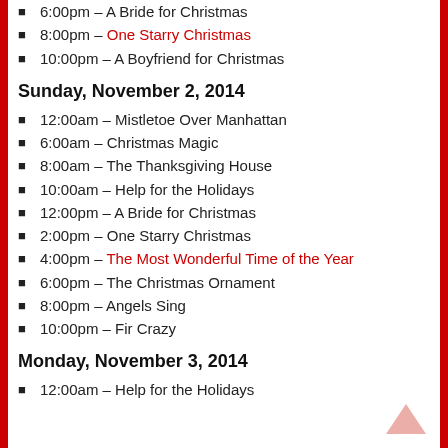6:00pm – A Bride for Christmas
8:00pm – One Starry Christmas
10:00pm – A Boyfriend for Christmas
Sunday, November 2, 2014
12:00am – Mistletoe Over Manhattan
6:00am – Christmas Magic
8:00am – The Thanksgiving House
10:00am – Help for the Holidays
12:00pm – A Bride for Christmas
2:00pm – One Starry Christmas
4:00pm – The Most Wonderful Time of the Year
6:00pm – The Christmas Ornament
8:00pm – Angels Sing
10:00pm – Fir Crazy
Monday, November 3, 2014
12:00am – Help for the Holidays